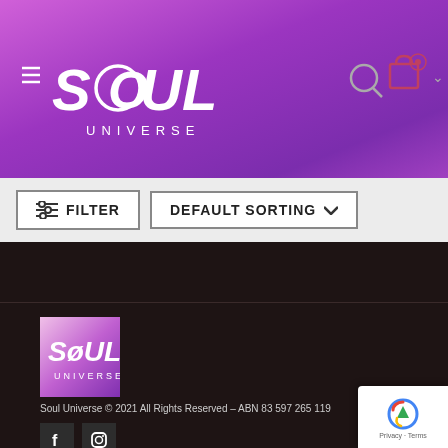[Figure (logo): Soul Universe logo in white text on purple gradient header background with hamburger menu icon and search/cart icons]
FILTER
DEFAULT SORTING
[Figure (logo): Soul Universe logo square image with purple gradient background]
Soul Universe © 2021 All Rights Reserved – ABN 83 597 265 119
[Figure (other): Facebook and Instagram social media icon buttons]
[Figure (other): Google reCAPTCHA badge with Privacy and Terms links]